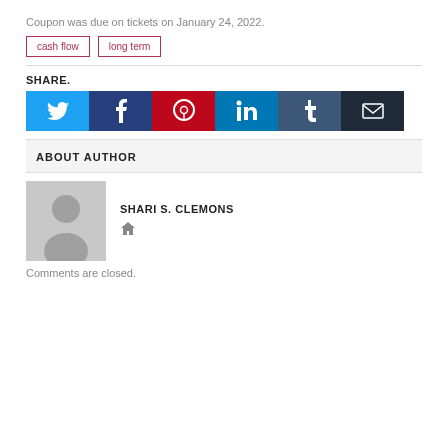Coupon was due on tickets on January 24, 2022.
cash flow
long term
SHARE.
[Figure (infographic): Social share buttons: Twitter (blue), Facebook (dark blue), Pinterest (red), LinkedIn (teal), Tumblr (slate blue), Email (dark)]
ABOUT AUTHOR
SHARI S. CLEMONS
Comments are closed.